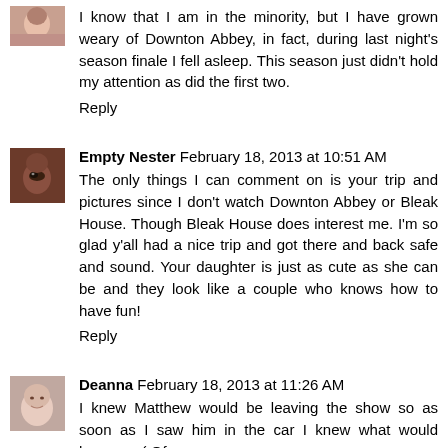[Figure (photo): Small square avatar photo of a woman, partial view at top]
I know that I am in the minority, but I have grown weary of Downton Abbey, in fact, during last night's season finale I fell asleep. This season just didn't hold my attention as did the first two.
Reply
[Figure (photo): Small square avatar photo showing a close-up of an eye]
Empty Nester  February 18, 2013 at 10:51 AM
The only things I can comment on is your trip and pictures since I don't watch Downton Abbey or Bleak House. Though Bleak House does interest me. I'm so glad y'all had a nice trip and got there and back safe and sound. Your daughter is just as cute as she can be and they look like a couple who knows how to have fun!
Reply
[Figure (photo): Small square avatar photo of a woman with light hair]
Deanna  February 18, 2013 at 11:26 AM
I knew Matthew would be leaving the show so as soon as I saw him in the car I knew what would happen. :( Of course